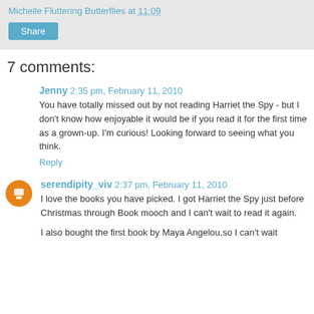Michelle Fluttering Butterflies at 11:09
Share
7 comments:
Jenny  2:35 pm, February 11, 2010
You have totally missed out by not reading Harriet the Spy - but I don't know how enjoyable it would be if you read it for the first time as a grown-up. I'm curious! Looking forward to seeing what you think.
Reply
serendipity_viv  2:37 pm, February 11, 2010
I love the books you have picked. I got Harriet the Spy just before Christmas through Book mooch and I can't wait to read it again.
I also bought the first book by Maya Angelou,so I can't wait